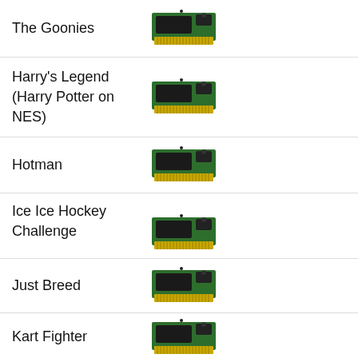The Goonies
Harry's Legend (Harry Potter on NES)
Hotman
Ice Ice Hockey Challenge
Just Breed
Kart Fighter